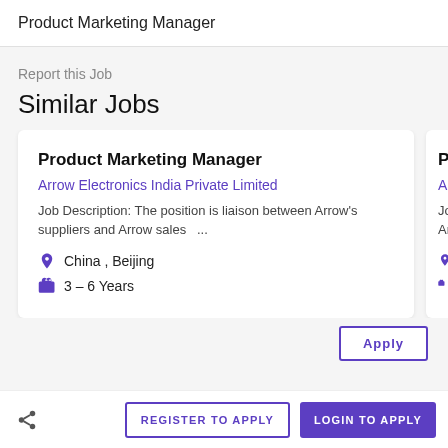Product Marketing Manager
Report this Job
Similar Jobs
Product Marketing Manager
Arrow Electronics India Private Limited
Job Description: The position is liaison between Arrow's suppliers and Arrow sales ...
China , Beijing
3 – 6 Years
Product
Arrow Ele
Job Desc
Arrow's s
China
0 – 50
REGISTER TO APPLY   LOGIN TO APPLY